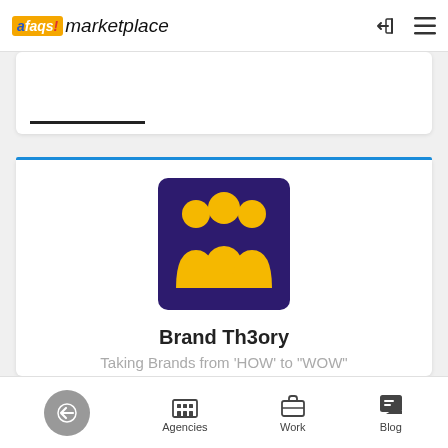afaqs! marketplace
[Figure (logo): Brand Th3ory logo: dark purple square background with three golden yellow human figures side by side]
Brand Th3ory
Taking Brands from 'HOW' to "WOW"
Creative
26-50 employees
Mohali
Agencies  Work  Blog